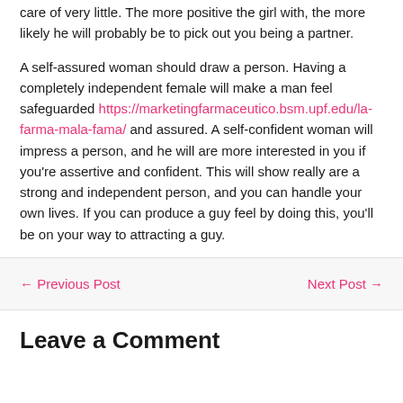care of very little. The more positive the girl with, the more likely he will probably be to pick out you being a partner.
A self-assured woman should draw a person. Having a completely independent female will make a man feel safeguarded https://marketingfarmaceutico.bsm.upf.edu/la-farma-mala-fama/ and assured. A self-confident woman will impress a person, and he will are more interested in you if you're assertive and confident. This will show really are a strong and independent person, and you can handle your own lives. If you can produce a guy feel by doing this, you'll be on your way to attracting a guy.
← Previous Post
Next Post →
Leave a Comment